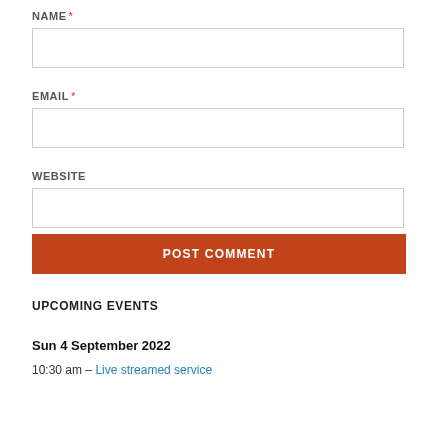NAME *
[Figure (other): Empty text input field for Name]
EMAIL *
[Figure (other): Empty text input field for Email]
WEBSITE
[Figure (other): Empty text input field for Website]
[Figure (other): POST COMMENT button in dark orange/red]
UPCOMING EVENTS
Sun 4 September 2022
10:30 am – Live streamed service